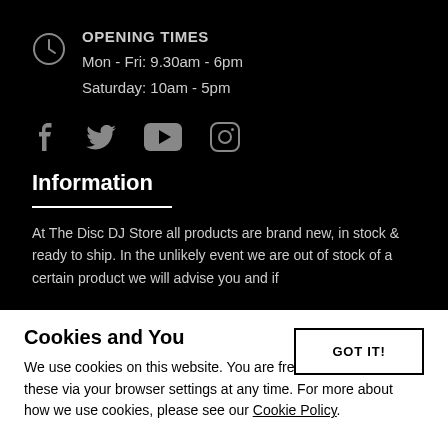OPENING TIMES
Mon - Fri: 9.30am - 6pm
Saturday: 10am - 5pm
[Figure (illustration): Social media icons: Facebook, Twitter, YouTube, Instagram]
Information
At The Disc DJ Store all products are brand new, in stock & ready to ship. In the unlikely event we are out of stock of a certain product we will advise you and if
Cookies and You
GOT IT!
We use cookies on this website. You are free to manage these via your browser settings at any time. For more about how we use cookies, please see our Cookie Policy.